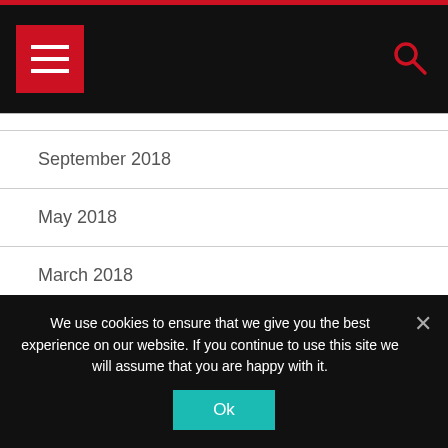Navigation header with hamburger menu and search icon
September 2018
May 2018
March 2018
February 2018
January 2018
November 2017
We use cookies to ensure that we give you the best experience on our website. If you continue to use this site we will assume that you are happy with it.